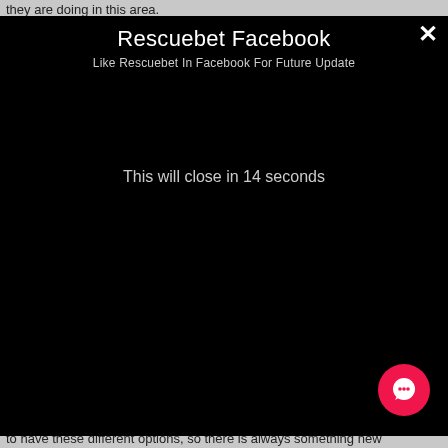they are doing in this area.
Rescuebet Facebook
Like Rescuebet In Facebook For Future Update
This will close in 14 seconds
[Figure (other): Pink circular chat button with white chat bubble icon]
to have these different options, so there is always something new